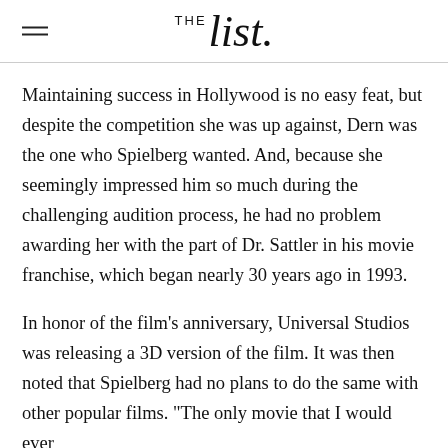THE list
Maintaining success in Hollywood is no easy feat, but despite the competition she was up against, Dern was the one who Spielberg wanted. And, because she seemingly impressed him so much during the challenging audition process, he had no problem awarding her with the part of Dr. Sattler in his movie franchise, which began nearly 30 years ago in 1993.
In honor of the film's anniversary, Universal Studios was releasing a 3D version of the film. It was then noted that Spielberg had no plans to do the same with other popular films. "The only movie that I would ever